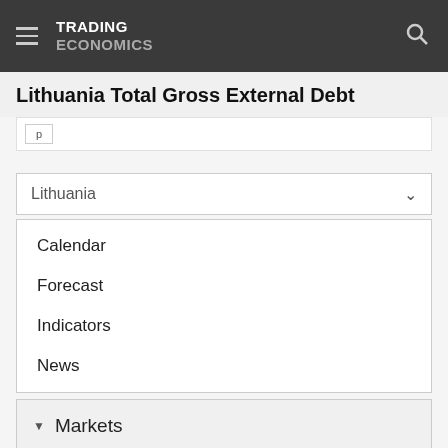TRADING ECONOMICS
Lithuania Total Gross External Debt
Lithuania
Calendar
Forecast
Indicators
News
Markets
GDP